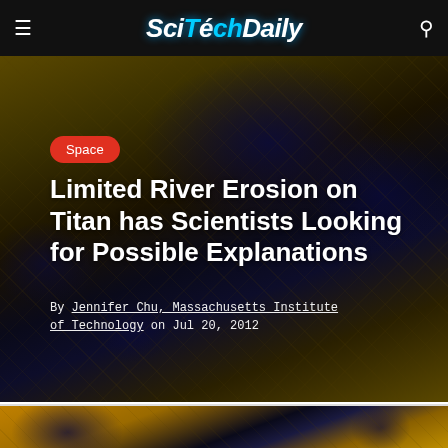SciTechDaily
[Figure (photo): Satellite/radar image of Titan's surface showing dark hydrocarbon lakes and rivers against golden-brown terrain, with grid-like patterns visible]
Space
Limited River Erosion on Titan has Scientists Looking for Possible Explanations
By Jennifer Chu, Massachusetts Institute of Technology on Jul 20, 2012
[Figure (photo): Bottom portion of Titan surface radar image showing golden-brown terrain with dark blue hydrocarbon lakes]